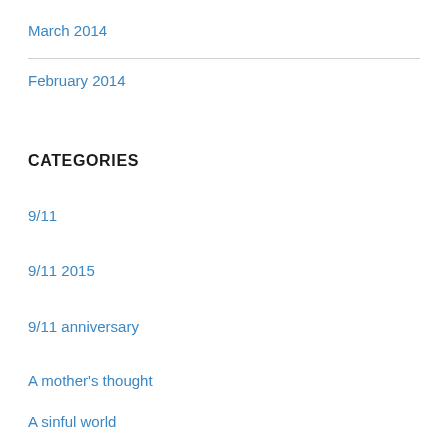March 2014
February 2014
CATEGORIES
9/11
9/11 2015
9/11 anniversary
A mother's thought
A sinful world
AB2943